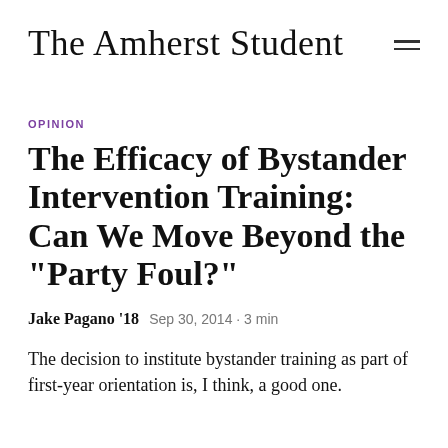The Amherst Student
OPINION
The Efficacy of Bystander Intervention Training: Can We Move Beyond the "Party Foul?"
Jake Pagano '18   Sep 30, 2014 · 3 min
The decision to institute bystander training as part of first-year orientation is, I think, a good one.